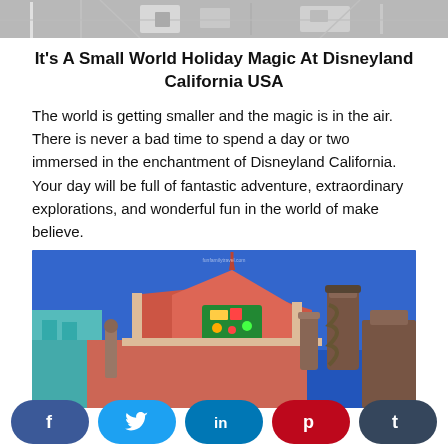[Figure (photo): Top cropped image showing what appears to be a white structure or ride vehicle]
It's A Small World Holiday Magic At Disneyland California USA
The world is getting smaller and the magic is in the air. There is never a bad time to spend a day or two immersed in the enchantment of Disneyland California. Your day will be full of fantastic adventure, extraordinary explorations, and wonderful fun in the world of make believe.
[Figure (photo): Photo of Disneyland It's A Small World Holiday facade with blue sky background, colorful rooftop decorations and chimneys]
[Figure (other): Social media share buttons bar: Facebook (dark blue), Twitter (light blue), LinkedIn (teal), Pinterest (red), Tumblr (dark slate)]